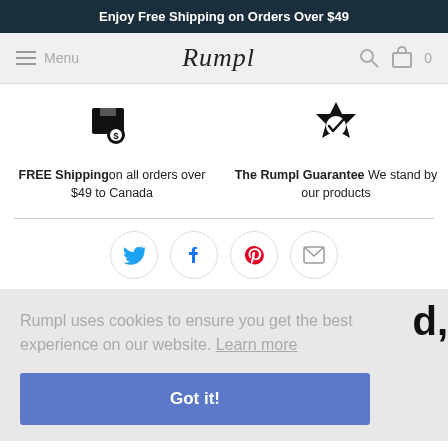Enjoy Free Shipping on Orders Over $49
[Figure (screenshot): Rumpl website navigation bar with hamburger menu, Rumpl logo, search icon, and cart icon (0 items)]
FREE Shipping on all orders over $49 to Canada
The Rumpl Guarantee We stand by our products
[Figure (infographic): Social media share icons: Twitter (blue bird), Facebook (f), Pinterest (P in red), Email (envelope)]
Rumpl uses cookies to ensure you get the best experience on our website. Learn more
Got it!
d,
absorbent, quick-drying, and